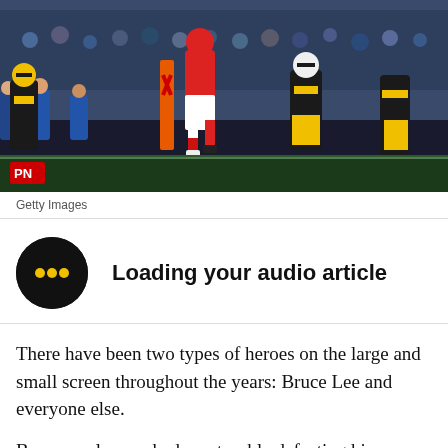[Figure (photo): NFL football game action photo showing players in mid-air. A player in red and white Washington jersey leaps while Pittsburgh Steelers players in black and gold uniforms surround him. Sideline staff in blue visible in background.]
Getty Images
Loading your audio article
There have been two types of heroes on the large and small screen throughout the years: Bruce Lee and everyone else.
Bruce rarely ever had any trouble defeating his adversaries. A quick kick to the face and they were